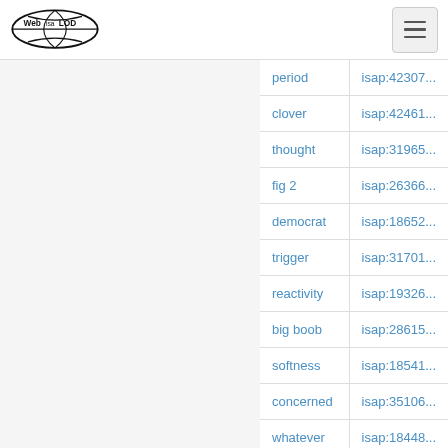Web isa LOD — navigation header with logo and menu button
| term | isap id |
| --- | --- |
| period | isap:42307... |
| clover | isap:42461... |
| thought | isap:31965... |
| fig 2 | isap:26366... |
| democrat | isap:18652... |
| trigger | isap:31701... |
| reactivity | isap:19326... |
| big boob | isap:28615... |
| softness | isap:18541... |
| concerned | isap:35106... |
| whatever | isap:18448... |